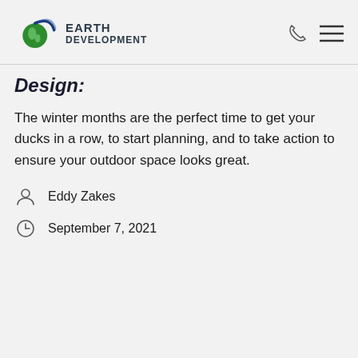[Figure (logo): Earth Development company logo with green and blue swoosh graphic, text reads EARTH DEVELOPMENT]
Design:
The winter months are the perfect time to get your ducks in a row, to start planning, and to take action to ensure your outdoor space looks great.
Eddy Zakes
September 7, 2021